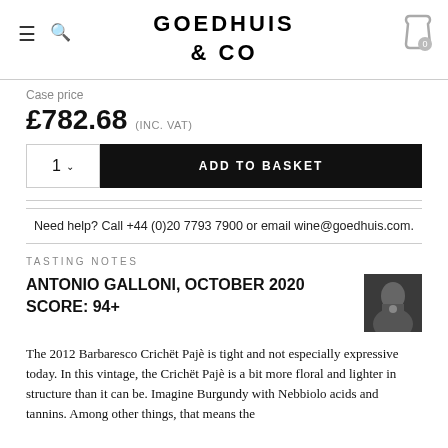GOEDHUIS & CO
Case price
£782.68 (INC. VAT)
1 ∨  ADD TO BASKET
Need help? Call +44 (0)20 7793 7900 or email wine@goedhuis.com.
TASTING NOTES
ANTONIO GALLONI, OCTOBER 2020
SCORE: 94+
[Figure (photo): Person tasting wine]
The 2012 Barbaresco Crichët Pajè is tight and not especially expressive today. In this vintage, the Crichët Pajè is a bit more floral and lighter in structure than it can be. Imagine Burgundy with Nebbiolo acids and tannins. Among other things, that means the